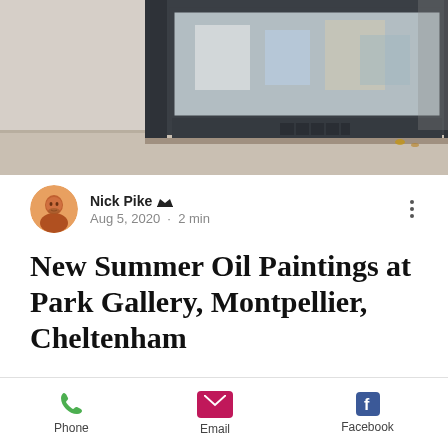[Figure (photo): Photo of a gallery storefront with dark grey/charcoal painted exterior, large display windows showing artwork, and a pavement in front.]
Nick Pike 👑  Aug 5, 2020  ·  2 min
New Summer Oil Paintings at Park Gallery, Montpellier, Cheltenham
After the lockdown, with so much uncertainty and often staring at the same four walls, I thought it was the perfect time to release these four Square Panoramas which exude summer in the city/by the sea. These oil paintings are currently on display at
Phone  Email  Facebook